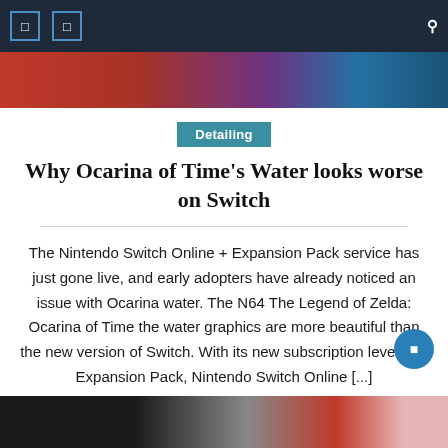Navigation bar with icons and search
[Figure (photo): Hero image strip with red and blue tones]
Detailing
Why Ocarina of Time's Water looks worse on Switch
The Nintendo Switch Online + Expansion Pack service has just gone live, and early adopters have already noticed an issue with Ocarina water. The N64 The Legend of Zelda: Ocarina of Time the water graphics are more beautiful than the new version of Switch. With its new subscription level, the Expansion Pack, Nintendo Switch Online [...]
October 26, 2021  Shayla K. Howard  Comments Off
[Figure (photo): Bottom image strip showing partial image of an event scene]